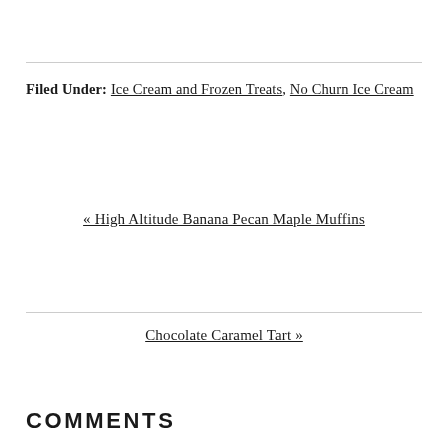Filed Under: Ice Cream and Frozen Treats, No Churn Ice Cream
« High Altitude Banana Pecan Maple Muffins
Chocolate Caramel Tart »
COMMENTS